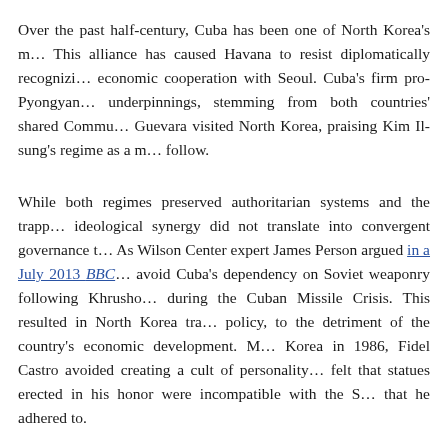Over the past half-century, Cuba has been one of North Korea's m… This alliance has caused Havana to resist diplomatically recognizi… economic cooperation with Seoul. Cuba's firm pro-Pyongyan… underpinnings, stemming from both countries' shared Commu… Guevara visited North Korea, praising Kim Il-sung's regime as a m… follow.
While both regimes preserved authoritarian systems and the trapp… ideological synergy did not translate into convergent governance t… As Wilson Center expert James Person argued in a July 2013 BBC… avoid Cuba's dependency on Soviet weaponry following Khrusho… during the Cuban Missile Crisis. This resulted in North Korea tra… policy, to the detriment of the country's economic development. M… Korea in 1986, Fidel Castro avoided creating a cult of personality… felt that statues erected in his honor were incompatible with the S… that he adhered to.
Despite their divergent development courses, both countries have… and there are signs that the bilateral relationship has strengthene…